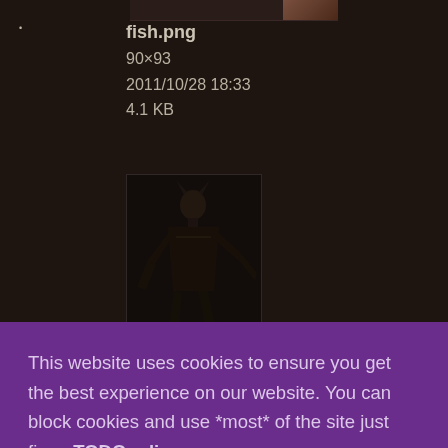[Figure (screenshot): Partial thumbnail of an image file at the top of the page]
fish.png
90×93
2011/10/28 18:33
4.1 KB
[Figure (illustration): Thumbnail image of a hellknight character sprite, dark humanoid figure on dark background]
hellknight.png
This website uses cookies to ensure you get the best experience on our website. You can block cookies and use *most* of the site just fine.  TODOpolicy
Got it!
knight.png